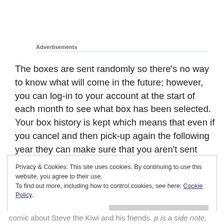Advertisements
The boxes are sent randomly so there's no way to know what will come in the future; however, you can log-in to your account at the start of each month to see what box has been selected. Your box history is kept which means that even if you cancel and then pick-up again the following year they can make sure that you aren't sent repeats of boxes.
Privacy & Cookies: This site uses cookies. By continuing to use this website, you agree to their use.
To find out more, including how to control cookies, see here: Cookie Policy
Close and accept
comic about Steve the Kiwi and his friends. p is a side note,